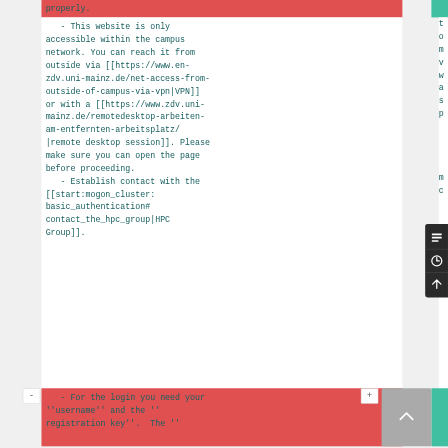properly.
- This website is only accessible within the campus network. You can reach it from outside via [[https://www.en-zdv.uni-mainz.de/net-access-from-outside-of-campus-via-vpn|VPN]] or with a [[https://www.zdv.uni-mainz.de/remotedesktop-arbeiten-am-entfernten-arbeitsplatz/|remote desktop session]]. Please make sure you can open the page before proceeding.
- Establish contact with the [[start:mogon_cluster:basic_authentication#contact_the_hpc_group|HPC Group]].
- For the login you need your ''username'' and the ''registration key''.  The ''